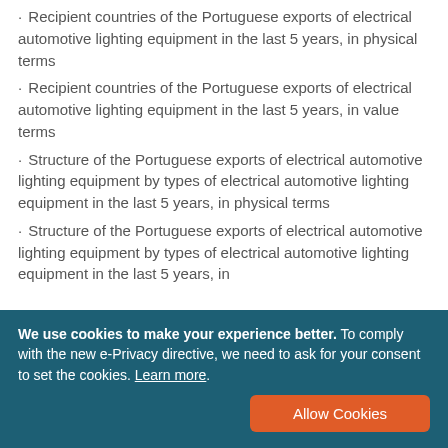Recipient countries of the Portuguese exports of electrical automotive lighting equipment in the last 5 years, in physical terms
Recipient countries of the Portuguese exports of electrical automotive lighting equipment in the last 5 years, in value terms
Structure of the Portuguese exports of electrical automotive lighting equipment by types of electrical automotive lighting equipment in the last 5 years, in physical terms
Structure of the Portuguese exports of electrical automotive lighting equipment by types of electrical automotive lighting equipment in the last 5 years, in
We use cookies to make your experience better. To comply with the new e-Privacy directive, we need to ask for your consent to set the cookies. Learn more.